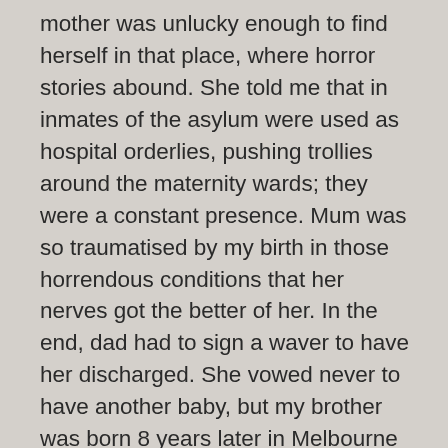mother was unlucky enough to find herself in that place, where horror stories abound. She told me that in inmates of the asylum were used as hospital orderlies, pushing trollies around the maternity wards; they were a constant presence. Mum was so traumatised by my birth in those horrendous conditions that her nerves got the better of her. In the end, dad had to sign a waver to have her discharged. She vowed never to have another baby, but my brother was born 8 years later in Melbourne Australia. Mum died recently, but whenever she had had to be admitted to hospital, she would relate to the doctors and nurses the nightmare of my birth.I feel very lucky to have survived Lennox Castle and to have made it to my 70th birthday.